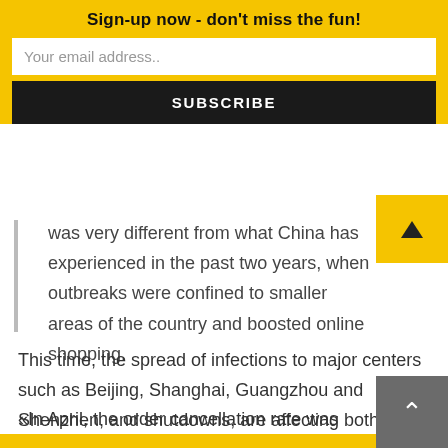Sign-up now - don't miss the fun!
Your email address..
SUBSCRIBE
was very different from what China has experienced in the past two years, when outbreaks were confined to smaller areas of the country and boosted online shopping.
This time, the spread of infections to major centers such as Beijing, Shanghai, Guangzhou and Shenzhen, and shutdowns, are affecting both online and offline commerce.
«In April, the order cancellation rate was